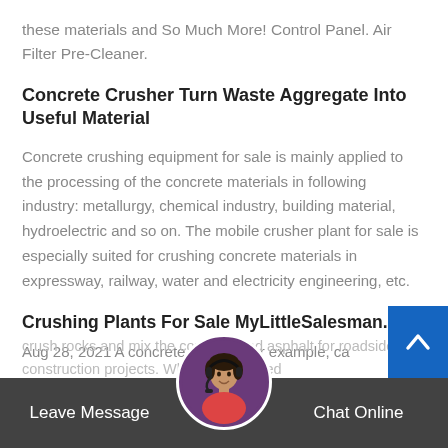these materials and So Much More! Control Panel. Air Filter Pre-Cleaner.
Concrete Crusher Turn Waste Aggregate Into Useful Material
Concrete crushing equipment for sale is mainly applied to the processing of the concrete materials in following industry: metallurgy, chemical industry, building material, hydroelectric and so on. The mobile crusher plant for sale is especially suited for crushing concrete materials in expressway, railway, water and electricity engineering, etc.
Crushing Plants For Sale MyLittleSalesman.com
Aug 28, 2021 A concrete crusher, for example, ca
crush rocks and mix the concrete and asphalt for roadside construction projects. Whether you need